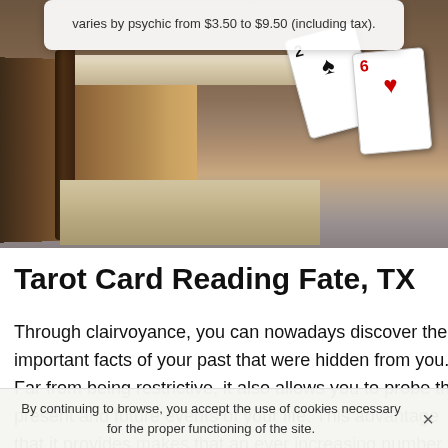[Figure (photo): Photo of an old open book with playing cards (2 of spades, 6 of hearts) resting on top, on a gray surface. A white tooltip/popup box appears at the top of the image with text about pricing.]
varies by psychic from $3.50 to $9.50 (including tax).
Tarot Card Reading Fate, TX
Through clairvoyance, you can nowadays discover the important facts of your past that were hidden from you. Far from being restrictive, it also allows you to probe the present and future events of your life. This advantage that it provides makes that an ever increasing number of people turn to this practice. However, as with all flourishing
By continuing to browse, you accept the use of cookies necessary for the proper functioning of the site.